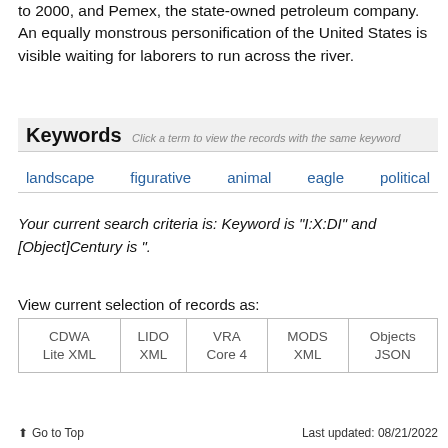to 2000, and Pemex, the state-owned petroleum company. An equally monstrous personification of the United States is visible waiting for laborers to run across the river.
Keywords  Click a term to view the records with the same keyword
landscape   figurative   animal   eagle   political
Your current search criteria is: Keyword is "I:X:DI" and [Object]Century is ".
View current selection of records as:
| CDWA Lite XML | LIDO XML | VRA Core 4 | MODS XML | Objects JSON |
↑ Go to Top    Last updated: 08/21/2022